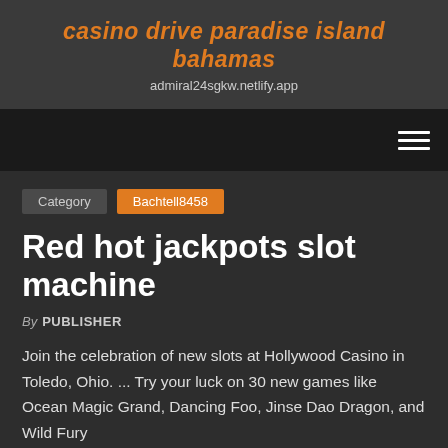casino drive paradise island bahamas
admiral24sgkw.netlify.app
Red hot jackpots slot machine
By PUBLISHER
Join the celebration of new slots at Hollywood Casino in Toledo, Ohio. ... Try your luck on 30 new games like Ocean Magic Grand, Dancing Foo, Jinse Dao Dragon, and Wild Fury